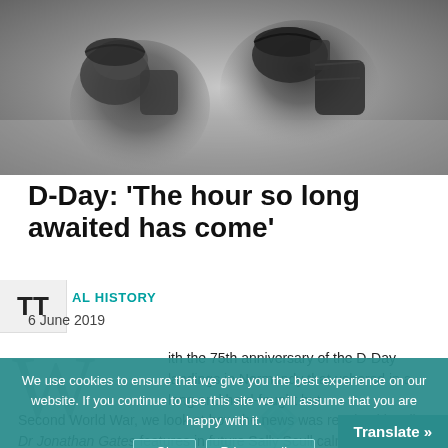[Figure (photo): Black and white photograph of WWII soldiers in combat gear, bent over and moving, carrying heavy packs and equipment]
D-Day: ‘The hour so long awaited has come’
AL HISTORY
6 June 2019
With the 75th anniversary of the D-Day landings in Normandy that ushered in a long and hard-fought but ultimately victorious end to the Second World War, we look at how the news was received locally. Dr Jonathan Gates features in future Sally Scull calm resolution.
We use cookies to ensure that we give you the best experience on our website. If you continue to use this site we will assume that you are happy with it.